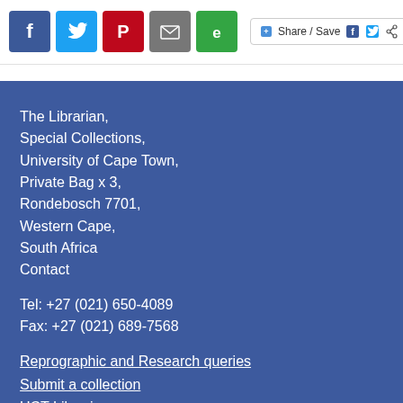[Figure (screenshot): Social media sharing icons: Facebook (blue), Twitter (blue), Pinterest (red), Email (grey), Evernote (green), and a Share/Save button with Facebook, Twitter, and share icons]
The Librarian,
Special Collections,
University of Cape Town,
Private Bag x 3,
Rondebosch 7701,
Western Cape,
South Africa
Contact
Tel: +27 (021) 650-4089
Fax: +27 (021) 689-7568
Reprographic and Research queries
Submit a collection
UCT Libraries
UCT Libraries Special Collections
University of Cape Town